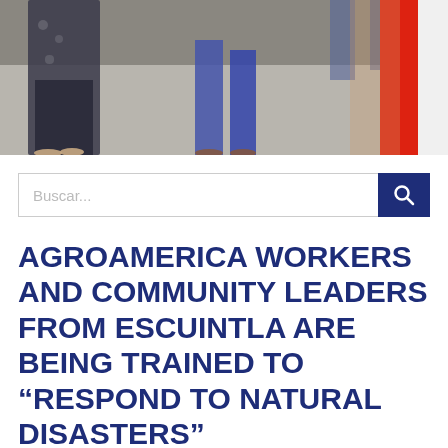[Figure (photo): Photograph showing people standing on a flat ground surface, partially visible from the torso/waist down. A red and white flag or banner is visible on the right side.]
Buscar...
AGROAMERICA WORKERS AND COMMUNITY LEADERS FROM ESCUINTLA ARE BEING TRAINED TO “RESPOND TO NATURAL DISASTERS”
Guatemala, November 2012. Together, 35